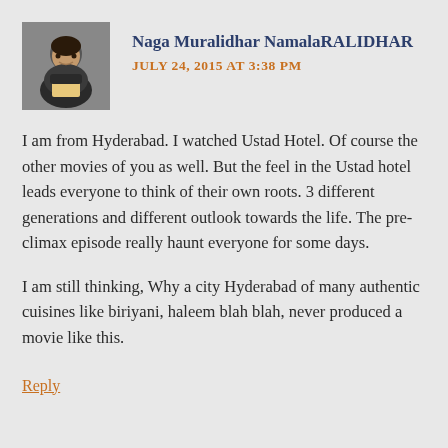[Figure (photo): Profile photo of a young man in a dark jacket and yellow shirt]
Naga Muralidhar NamalaRALIDHAR
JULY 24, 2015 AT 3:38 PM
I am from Hyderabad. I watched Ustad Hotel. Of course the other movies of you as well. But the feel in the Ustad hotel leads everyone to think of their own roots. 3 different generations and different outlook towards the life. The pre-climax episode really haunt everyone for some days.
I am still thinking, Why a city Hyderabad of many authentic cuisines like biriyani, haleem blah blah, never produced a movie like this.
Reply